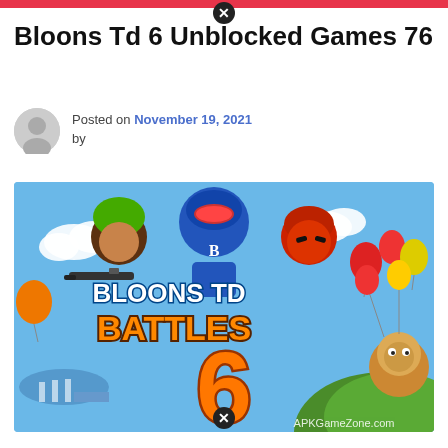Bloons Td 6 Unblocked Games 76
Posted on November 19, 2021 by
[Figure (illustration): Bloons TD Battles 6 game art featuring cartoon characters including a figure with green hair holding a gun, a blue monkey hero character, a red ninja monkey, balloons of various colors, a blimp, a monkey with balloons on a green hill, and large orange number 6 in the foreground. Text reads BLOONS TD BATTLES 6. Watermark: APKGameZone.com]